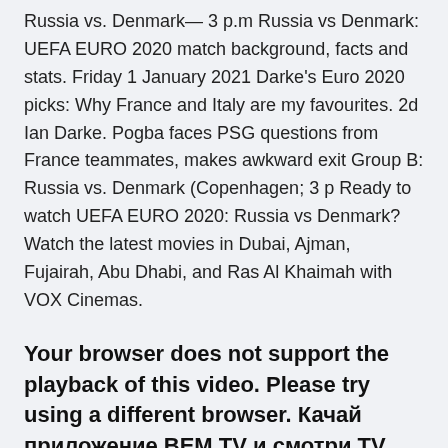Russia vs. Denmark— 3 p.m Russia vs Denmark: UEFA EURO 2020 match background, facts and stats. Friday 1 January 2021 Darke's Euro 2020 picks: Why France and Italy are my favourites. 2d Ian Darke. Pogba faces PSG questions from France teammates, makes awkward exit Group B: Russia vs. Denmark (Copenhagen; 3 p Ready to watch UEFA EURO 2020: Russia vs Denmark? Watch the latest movies in Dubai, Ajman, Fujairah, Abu Dhabi, and Ras Al Khaimah with VOX Cinemas.
Your browser does not support the playback of this video. Please try using a different browser. Качай приложение BEM TV и смотри TV